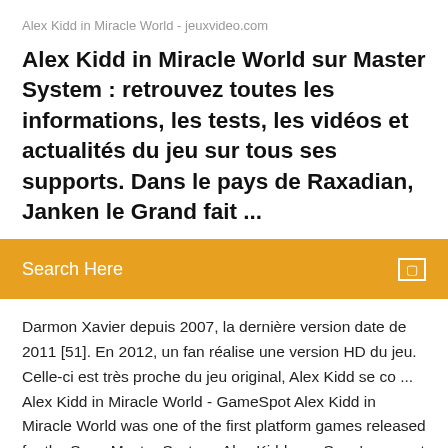Alex Kidd in Miracle World - jeuxvideo.com
Alex Kidd in Miracle World sur Master System : retrouvez toutes les informations, les tests, les vidéos et actualités du jeu sur tous ses supports. Dans le pays de Raxadian, Janken le Grand fait ...
Search Here
Darmon Xavier depuis 2007, la dernière version date de 2011 [51]. En 2012, un fan réalise une version HD du jeu. Celle-ci est très proche du jeu original, Alex Kidd se co ... Alex Kidd in Miracle World - GameSpot Alex Kidd in Miracle World was one of the first platform games released for the Sega Master System. Alex Kidd was Sega's mascot before characters like Sonic the Hedgehog hit the scene. Alex Kidd gratuit en ligne - jeu PC en plein écran et flash Aidez Alex à libérer sa petite amie dans le jeu Alex Kidd. En effet le méchant Janker Le Grand a kidnappé